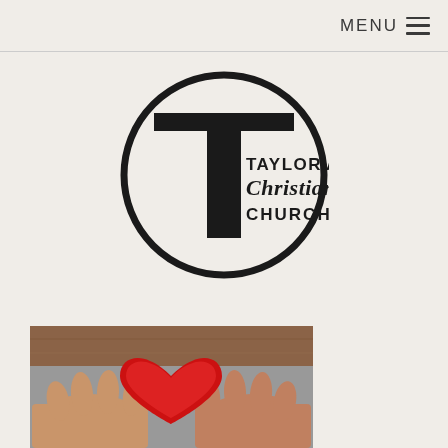MENU
[Figure (logo): Taylorville Christian Church logo — large letter T inside a circle with text 'TAYLORVILLE Christian CHURCH']
[Figure (photo): Hands holding a red heart shape]